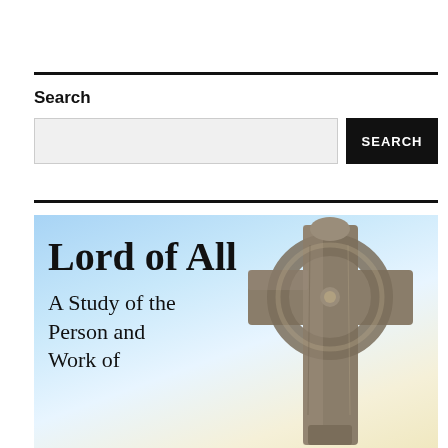Search
[Figure (screenshot): Search widget with text input box and black SEARCH button]
[Figure (photo): Book cover image: 'Lord of All – A Study of the Person and Work of' with a Celtic stone cross against a blue sky background]